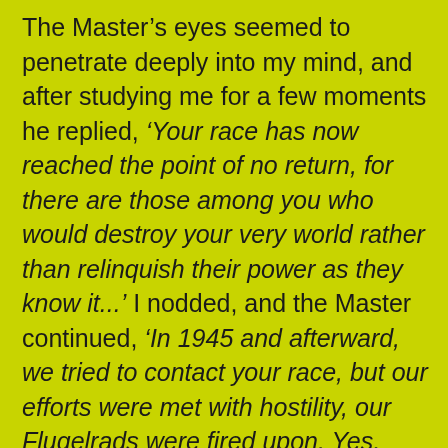The Master's eyes seemed to penetrate deeply into my mind, and after studying me for a few moments he replied, 'Your race has now reached the point of no return, for there are those among you who would destroy your very world rather than relinquish their power as they know it...' I nodded, and the Master continued, 'In 1945 and afterward, we tried to contact your race, but our efforts were met with hostility, our Flugelrads were fired upon. Yes, even pursued with malice and animosity by your fighter planes. So, now, I say to you, my son, there is a great storm gathering in your world, a black fury that will not